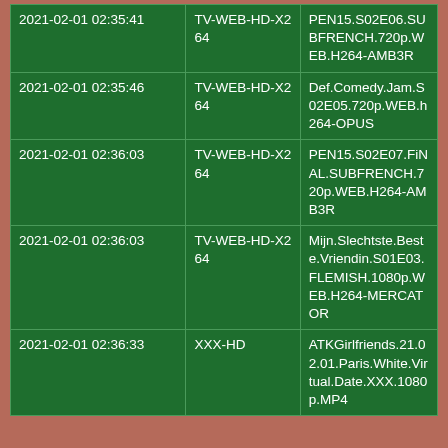| 2021-02-01 02:35:41 | TV-WEB-HD-X264 | PEN15.S02E06.SUBFRENCH.720p.WEB.H264-AMB3R |
| 2021-02-01 02:35:46 | TV-WEB-HD-X264 | Def.Comedy.Jam.S02E05.720p.WEB.h264-OPUS |
| 2021-02-01 02:36:03 | TV-WEB-HD-X264 | PEN15.S02E07.FiNAL.SUBFRENCH.720p.WEB.H264-AMB3R |
| 2021-02-01 02:36:03 | TV-WEB-HD-X264 | Mijn.Slechtste.Beste.Vriendin.S01E03.FLEMISH.1080p.WEB.H264-MERCATOR |
| 2021-02-01 02:36:33 | XXX-HD | ATKGirlfriends.21.02.01.Paris.White.Virtual.Date.XXX.1080p.MP4 |